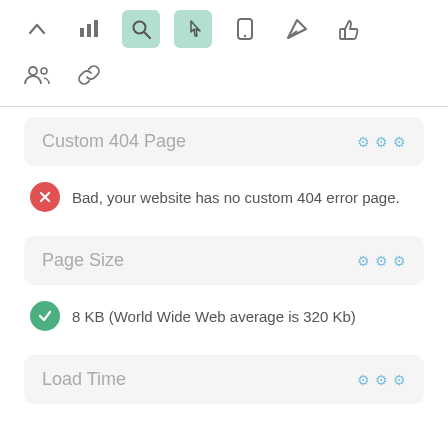[Figure (screenshot): Top navigation toolbar with icons: chevron up, bar chart, search (active/highlighted green), cursor/hand (highlighted green), mobile, rocket/send, thumbs up]
[Figure (screenshot): Second toolbar row with icons: group/people, chain link]
Custom 404 Page
Bad, your website has no custom 404 error page.
Page Size
8 KB (World Wide Web average is 320 Kb)
Load Time